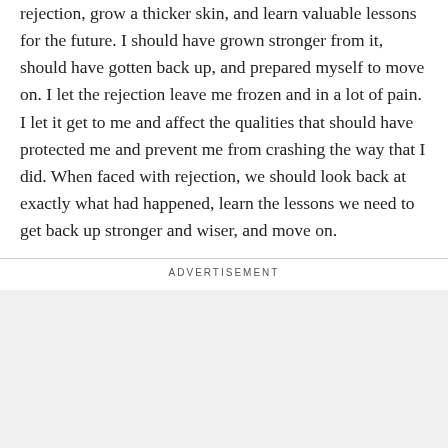rejection, grow a thicker skin, and learn valuable lessons for the future. I should have grown stronger from it, should have gotten back up, and prepared myself to move on. I let the rejection leave me frozen and in a lot of pain. I let it get to me and affect the qualities that should have protected me and prevent me from crashing the way that I did. When faced with rejection, we should look back at exactly what had happened, learn the lessons we need to get back up stronger and wiser, and move on.
[Figure (other): Advertisement placeholder box with light gray background]